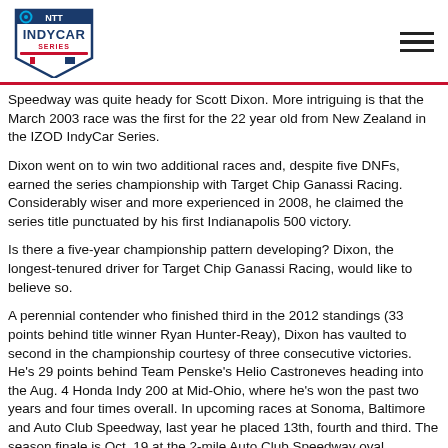NTT INDYCAR SERIES logo and hamburger menu
Speedway was quite heady for Scott Dixon. More intriguing is that the March 2003 race was the first for the 22 year old from New Zealand in the IZOD IndyCar Series.
Dixon went on to win two additional races and, despite five DNFs, earned the series championship with Target Chip Ganassi Racing. Considerably wiser and more experienced in 2008, he claimed the series title punctuated by his first Indianapolis 500 victory.
Is there a five-year championship pattern developing? Dixon, the longest-tenured driver for Target Chip Ganassi Racing, would like to believe so.
A perennial contender who finished third in the 2012 standings (33 points behind title winner Ryan Hunter-Reay), Dixon has vaulted to second in the championship courtesy of three consecutive victories. He's 29 points behind Team Penske's Helio Castroneves heading into the Aug. 4 Honda Indy 200 at Mid-Ohio, where he's won the past two years and four times overall. In upcoming races at Sonoma, Baltimore and Auto Club Speedway, last year he placed 13th, fourth and third. The season finale is Oct. 19 at the 2-mile Auto Club Speedway oval.